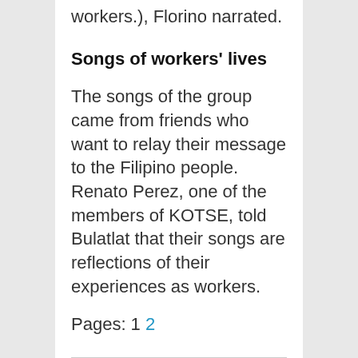workers.), Florino narrated.
Songs of workers' lives
The songs of the group came from friends who want to relay their message to the Filipino people. Renato Perez, one of the members of KOTSE, told Bulatlat that their songs are reflections of their experiences as workers.
Pages: 1 2
Share This Post